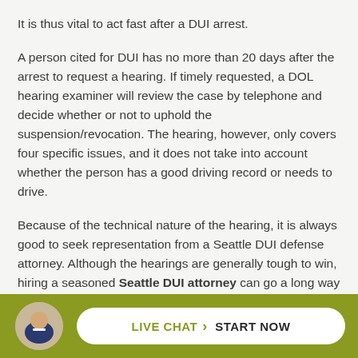It is thus vital to act fast after a DUI arrest.
A person cited for DUI has no more than 20 days after the arrest to request a hearing. If timely requested, a DOL hearing examiner will review the case by telephone and decide whether or not to uphold the suspension/revocation. The hearing, however, only covers four specific issues, and it does not take into account whether the person has a good driving record or needs to drive.
Because of the technical nature of the hearing, it is always good to seek representation from a Seattle DUI defense attorney. Although the hearings are generally tough to win, hiring a seasoned Seattle DUI attorney can go a long way in creating a favorable outcome.
A DOL ... on
[Figure (infographic): Live chat bar with olive/yellow-green background. Circular avatar photo of a man in suit on the left. White pill-shaped button with green 'LIVE CHAT' text, chevron arrow, and bold black 'START NOW' text.]